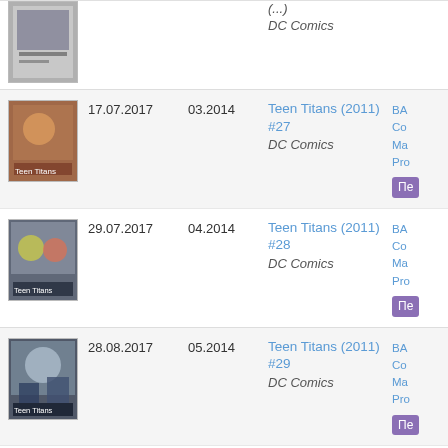| Image | Date Added | Month | Title | Details |
| --- | --- | --- | --- | --- |
| [img] |  |  | (...) | DC Comics | (partial) |
| [img] | 17.07.2017 | 03.2014 | Teen Titans (2011) #27 | DC Comics | BA... Co... Ma... Pro... Пе... |
| [img] | 29.07.2017 | 04.2014 | Teen Titans (2011) #28 | DC Comics | BA... Co... Ma... Pro... Пе... |
| [img] | 28.08.2017 | 05.2014 | Teen Titans (2011) #29 | DC Comics | BA... Co... Ma... Pro... Пе... |
| [img] | 30.09.2017 | 06.2014 | Teen Titans (2011) #30 | DC Comics | BA... Ma... |